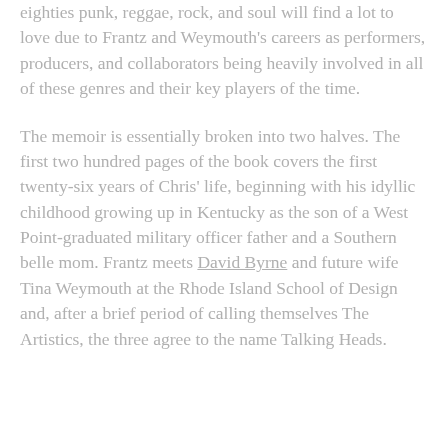eighties punk, reggae, rock, and soul will find a lot to love due to Frantz and Weymouth's careers as performers, producers, and collaborators being heavily involved in all of these genres and their key players of the time.
The memoir is essentially broken into two halves. The first two hundred pages of the book covers the first twenty-six years of Chris' life, beginning with his idyllic childhood growing up in Kentucky as the son of a West Point-graduated military officer father and a Southern belle mom. Frantz meets David Byrne and future wife Tina Weymouth at the Rhode Island School of Design and, after a brief period of calling themselves The Artistics, the three agree to the name Talking Heads.